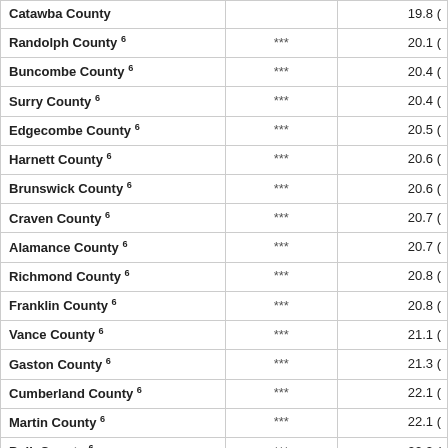| County |  | Value |
| --- | --- | --- |
| Catawba County |  | 19.8 ( |
| Randolph County 6 | *** | 20.1 ( |
| Buncombe County 6 | *** | 20.4 ( |
| Surry County 6 | *** | 20.4 ( |
| Edgecombe County 6 | *** | 20.5 ( |
| Harnett County 6 | *** | 20.6 ( |
| Brunswick County 6 | *** | 20.6 ( |
| Craven County 6 | *** | 20.7 ( |
| Alamance County 6 | *** | 20.7 ( |
| Richmond County 6 | *** | 20.8 ( |
| Franklin County 6 | *** | 20.8 ( |
| Vance County 6 | *** | 21.1 ( |
| Gaston County 6 | *** | 21.3 ( |
| Cumberland County 6 | *** | 22.1 ( |
| Martin County 6 | *** | 22.1 ( |
| Polk County 6 | *** | 22.2 ( |
| Warren County 6 | *** | 22.4 ( |
| Sampson County 6 | *** | 22.4 ( |